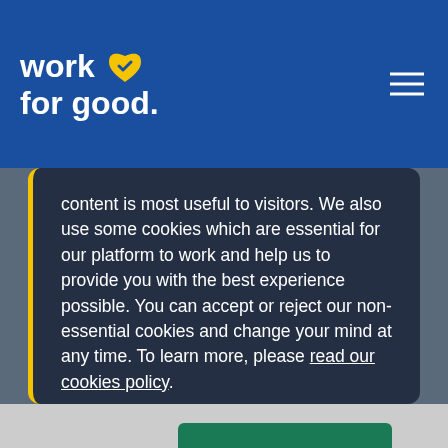work for good.
content is most useful to visitors. We also use some cookies which are essential for our platform to work and help us to provide you with the best experience possible. You can accept or reject our non-essential cookies and change your mind at any time. To learn more, please read our cookies policy.
Update cookie preferences
Accept all cookies